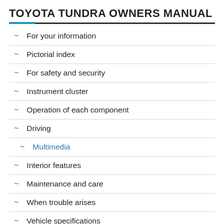TOYOTA TUNDRA OWNERS MANUAL
For your information
Pictorial index
For safety and security
Instrument cluster
Operation of each component
Driving
Multimedia
Interior features
Maintenance and care
When trouble arises
Vehicle specifications